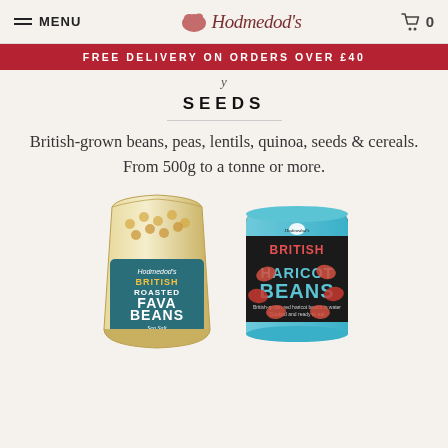MENU | Hodmedod's | 0
FREE DELIVERY ON ORDERS OVER £40
SEEDS
British-grown beans, peas, lentils, quinoa, seeds & cereals. From 500g to a tonne or more.
[Figure (photo): Two Hodmedod's product images: a clear bag of British Roasted Fava Beans Sea Salt & Cider Vinegar, and a tin of British Haricot Beans.]